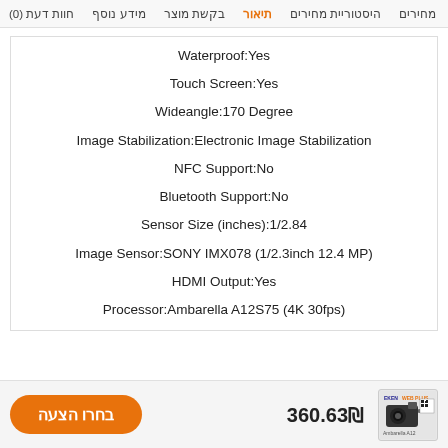מחירים  היסטוריית מחירים  תיאור  בקשת מוצר  מידע נוסף  חוות דעת (0)
Waterproof:Yes
Touch Screen:Yes
Wideangle:170 Degree
Image Stabilization:Electronic Image Stabilization
NFC Support:No
Bluetooth Support:No
Sensor Size (inches):1/2.84
Image Sensor:SONY IMX078 (1/2.3inch 12.4 MP)
HDMI Output:Yes
Processor:Ambarella A12S75 (4K 30fps)
Resolution: 4K@30fps  2.7K@30fps
360.63₪
בחרו הצעה